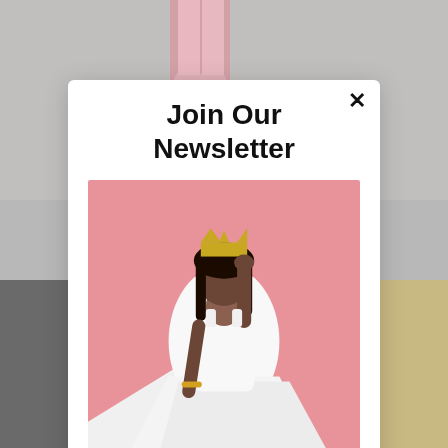[Figure (photo): Background: blurred photo of a person's lower legs in pink boots/shoes, with grey and beige tones. A modal newsletter signup card overlays the center of the image.]
Join Our Newsletter
[Figure (photo): Photo of a plus-size woman wearing a white flowing gown and a gold crown, posing against a pink background with one hand raised to her crown.]
Keep up with all of my latest posts, by adding your email to our mailing list!